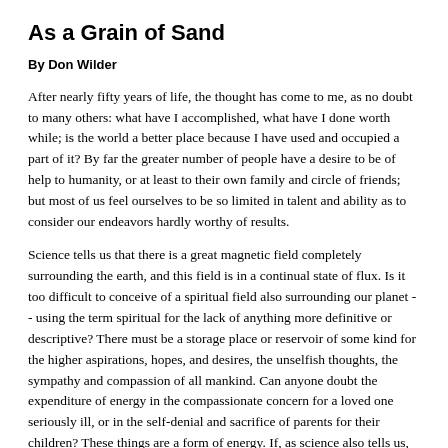As a Grain of Sand
By Don Wilder
After nearly fifty years of life, the thought has come to me, as no doubt to many others: what have I accomplished, what have I done worth while; is the world a better place because I have used and occupied a part of it? By far the greater number of people have a desire to be of help to humanity, or at least to their own family and circle of friends; but most of us feel ourselves to be so limited in talent and ability as to consider our endeavors hardly worthy of results.
Science tells us that there is a great magnetic field completely surrounding the earth, and this field is in a continual state of flux. Is it too difficult to conceive of a spiritual field also surrounding our planet -- using the term spiritual for the lack of anything more definitive or descriptive? There must be a storage place or reservoir of some kind for the higher aspirations, hopes, and desires, the unselfish thoughts, the sympathy and compassion of all mankind. Can anyone doubt the expenditure of energy in the compassionate concern for a loved one seriously ill, or in the self-denial and sacrifice of parents for their children? These things are a form of energy. If, as science also tells us, energy cannot be